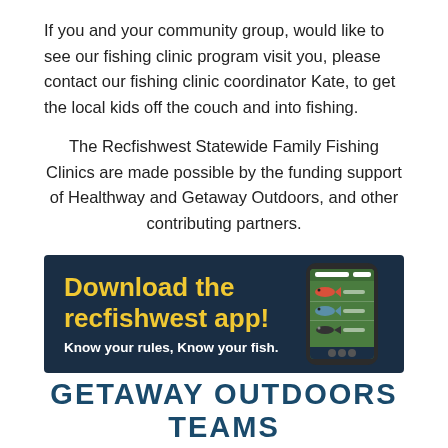If you and your community group, would like to see our fishing clinic program visit you, please contact our fishing clinic coordinator Kate, to get the local kids off the couch and into fishing.
The Recfishwest Statewide Family Fishing Clinics are made possible by the funding support of Healthway and Getaway Outdoors, and other contributing partners.
[Figure (infographic): Advertisement banner with dark navy background. Yellow bold text reads 'Download the recfishwest app!' White bold text below reads 'Know your rules, Know your fish.' A phone mockup on the right shows fish images on a green app screen.]
GETAWAY OUTDOORS TEAMS